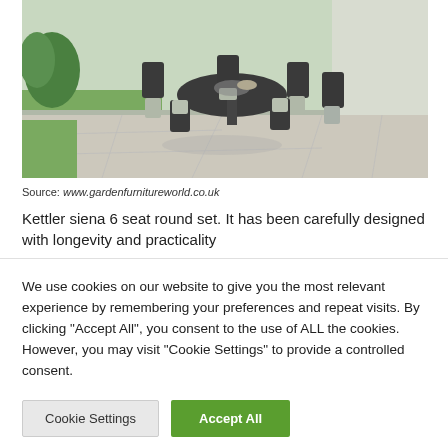[Figure (photo): Outdoor garden furniture set — Kettler Siena 6 seat round table with metal chairs and cushions on a stone patio, green garden background]
Source: www.gardenfurnitureworld.co.uk
Kettler siena 6 seat round set. It has been carefully designed with longevity and practicality
We use cookies on our website to give you the most relevant experience by remembering your preferences and repeat visits. By clicking "Accept All", you consent to the use of ALL the cookies. However, you may visit "Cookie Settings" to provide a controlled consent.